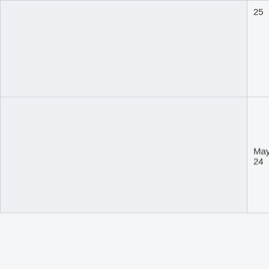|  | Date | Time | Event | Description |
| --- | --- | --- | --- | --- |
|  | 25 | 1pm UTC | Meetup | other. In it is a ti to find w support other, a us unde what is happenin part of t |
|  | May 24 | 11am EDT / 3pm UTC | Tor on Mobile Devices, Pluggable Transports / Snowflake | Commu Knowle worksho brings t diversity gatherin week le commu leaders Internet field. RS |